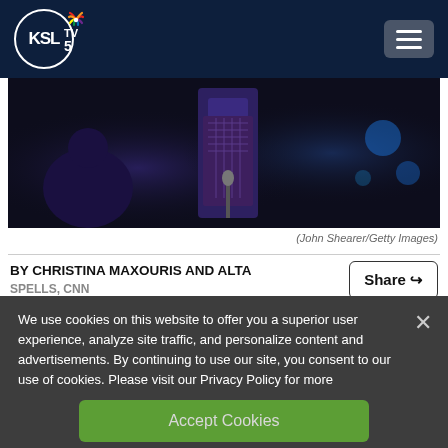KSL TV 5 NBC
[Figure (photo): Concert or performance scene with a person on stage in a patterned outfit, dark background with blue lighting and bokeh effects]
(John Shearer/Getty Images)
BY CHRISTINA MAXOURIS AND ALTA
We use cookies on this website to offer you a superior user experience, analyze site traffic, and personalize content and advertisements. By continuing to use our site, you consent to our use of cookies. Please visit our Privacy Policy for more information.
Accept Cookies